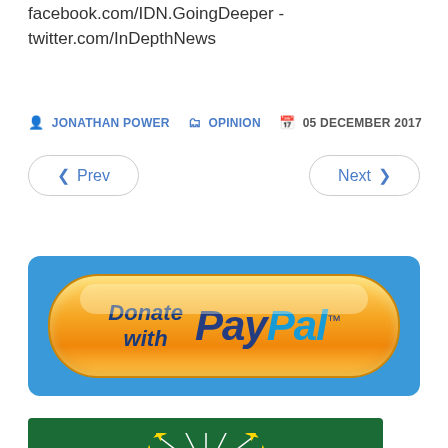facebook.com/IDN.GoingDeeper - twitter.com/InDepthNews
JONATHAN POWER  OPINION  05 DECEMBER 2017
Prev   Next
[Figure (logo): Donate with PayPal button — yellow/orange rounded pill button on blue background]
[Figure (illustration): Green background with yellow/white sunburst and star pattern (appears to be African Union or similar organization logo/flag)]